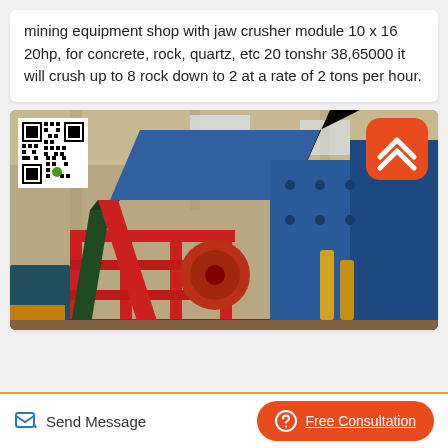mining equipment shop with jaw crusher module 10 x 16 20hp, for concrete, rock, quartz, etc 20 tonshr 38,65000 it will crush up to 8 rock down to 2 at a rate of 2 tons per hour.
[Figure (photo): Industrial jaw crusher mining equipment in a warehouse/factory setting. Large blue steel machinery with red metal frame conveyor structure. QR code visible in upper-left corner of image.]
Send Message
Free Consultation